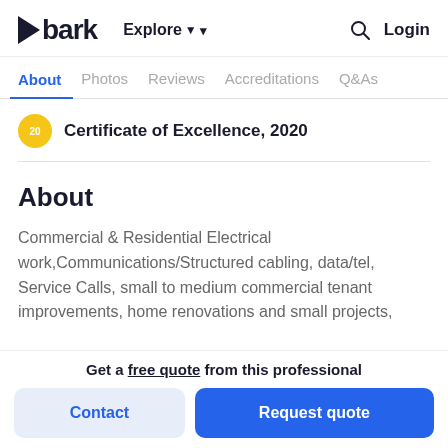bark  Explore  Login
About  Photos  Reviews  Accreditations  Q&As
Certificate of Excellence, 2020
About
Commercial & Residential Electrical work,Communications/Structured cabling, data/tel, Service Calls, small to medium commercial tenant improvements, home renovations and small projects,
Get a free quote from this professional
Contact   Request quote